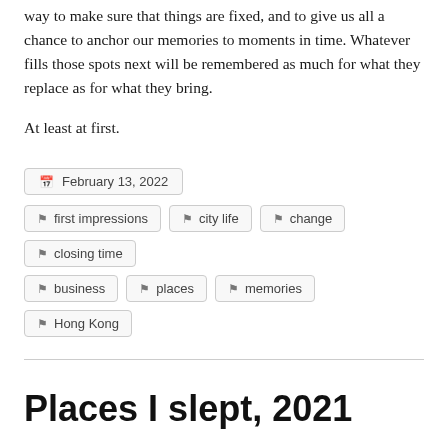way to make sure that things are fixed, and to give us all a chance to anchor our memories to moments in time. Whatever fills those spots next will be remembered as much for what they replace as for what they bring.
At least at first.
February 13, 2022
first impressions
city life
change
closing time
business
places
memories
Hong Kong
Places I slept, 2021